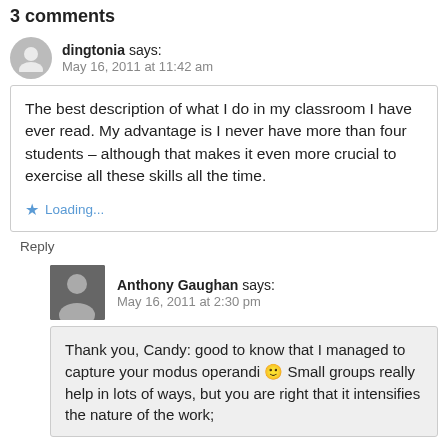3 comments
dingtonia says: May 16, 2011 at 11:42 am
The best description of what I do in my classroom I have ever read. My advantage is I never have more than four students – although that makes it even more crucial to exercise all these skills all the time.
Loading...
Reply
Anthony Gaughan says: May 16, 2011 at 2:30 pm
Thank you, Candy: good to know that I managed to capture your modus operandi 🙂 Small groups really help in lots of ways, but you are right that it intensifies the nature of the work;